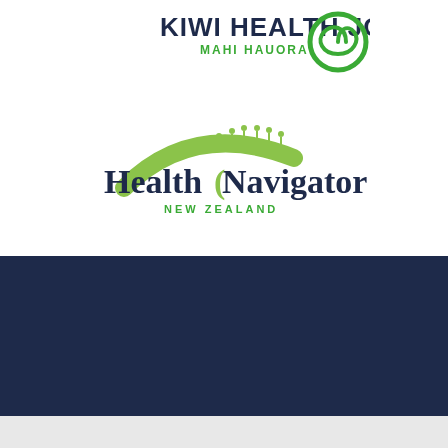[Figure (logo): Kiwi Health Jobs / Mahi Hauora logo with green spiral icon]
[Figure (logo): Health Navigator New Zealand logo with green swoosh and people icons]
Phone us on 09 470 0000
[Figure (logo): Social media icons (Instagram, Facebook, LinkedIn), New Zealand Government / Te Kawanatanga o Aotearoa logo, Ministry of Health / Manatū Hauora logo]
Privacy and disclaimer
Copyright © Northland DHB    Designed and developed by Creative